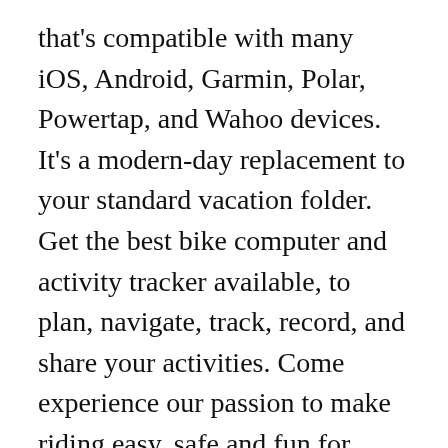that's compatible with many iOS, Android, Garmin, Polar, Powertap, and Wahoo devices. It's a modern-day replacement to your standard vacation folder. Get the best bike computer and activity tracker available, to plan, navigate, track, record, and share your activities. Come experience our passion to make riding easy, safe and fun for cyclists worldwide. Bluetooth devices Ride with GPS supports I have used Ride With GPS for some day rides around town, but recently decided to use the app to help route plan a multi day bike trip. Ride with GPS | Bike Route Planner and Cycling Navigation App. Ride With GPS is the best bike route mapping tool for cyclists,